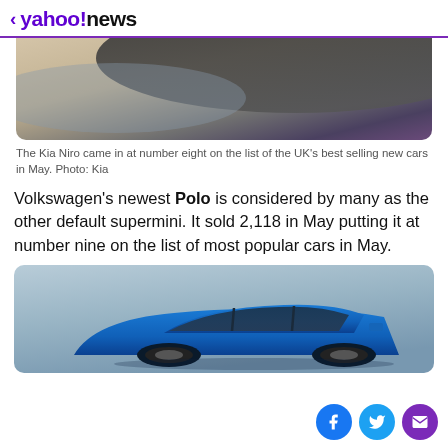< yahoo!news
[Figure (photo): Top portion of a car photo showing curved roofline, partially cropped — Kia Niro image]
The Kia Niro came in at number eight on the list of the UK's best selling new cars in May. Photo: Kia
Volkswagen's newest Polo is considered by many as the other default supermini. It sold 2,118 in May putting it at number nine on the list of most popular cars in May.
[Figure (photo): Photo of a blue Volkswagen Polo hatchback on a grey background, partially cropped at bottom]
Social share icons: Facebook, Twitter, Email